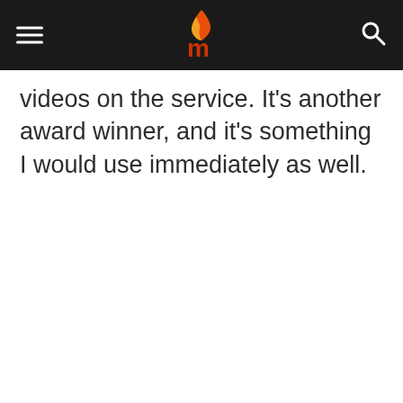[Mashable logo with hamburger menu and search icon]
videos on the service. It's another award winner, and it's something I would use immediately as well.